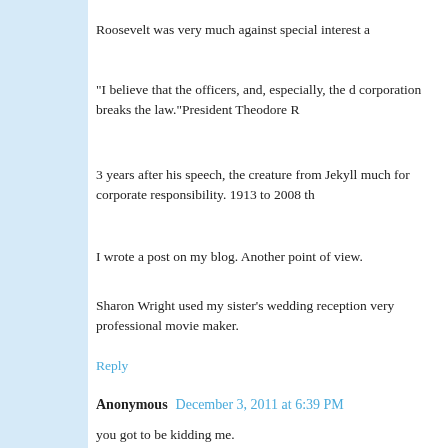Roosevelt was very much against special interest a
“I believe that the officers, and, especially, the d corporation breaks the law.”President Theodore R
3 years after his speech, the creature from Jekyll much for corporate responsibility. 1913 to 2008 th
I wrote a post on my blog. Another point of view.
Sharon Wright used my sister's wedding reception very professional movie maker.
Reply
Anonymous  December 3, 2011 at 6:39 PM
you got to be kidding me.
no wonder the government is so dysfunctional.